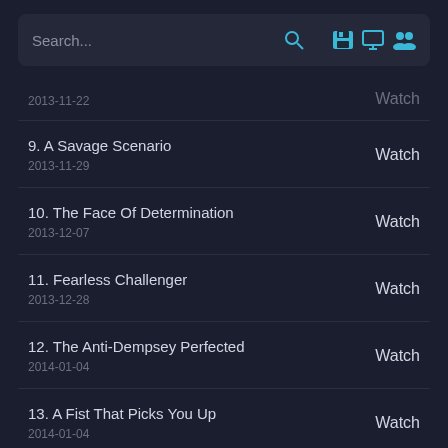Search...
2013-11-22 | Watch (partial)
9. A Savage Scenario | 2013-11-29 | Watch
10. The Face Of Determination | 2013-12-07 | Watch
11. Fearless Challenger | 2013-12-28 | Watch
12. The Anti-Dempsey Perfected | 2014-01-04 | Watch
13. A Fist That Picks You Up | 2014-01-04 | Watch